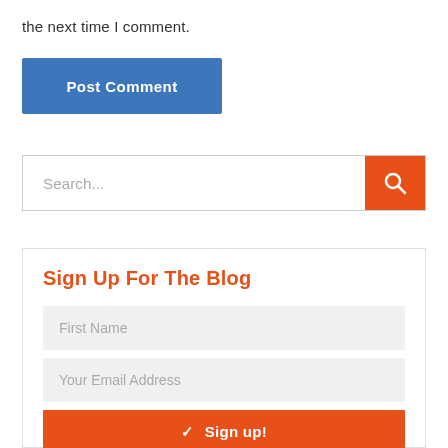the next time I comment.
Post Comment
Search...
Sign Up For The Blog
First Name
Your Email Address
✓ Sign up!